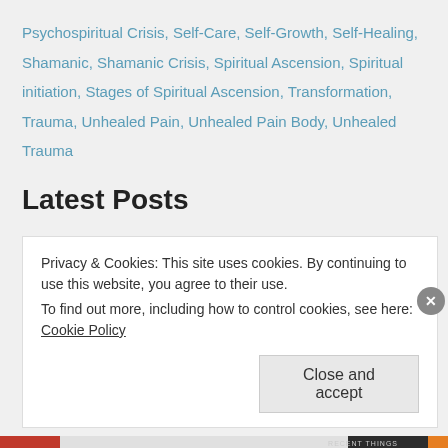Psychospiritual Crisis, Self-Care, Self-Growth, Self-Healing, Shamanic, Shamanic Crisis, Spiritual Ascension, Spiritual initiation, Stages of Spiritual Ascension, Transformation, Trauma, Unhealed Pain, Unhealed Pain Body, Unhealed Trauma
Latest Posts
Privacy & Cookies: This site uses cookies. By continuing to use this website, you agree to their use.
To find out more, including how to control cookies, see here: Cookie Policy